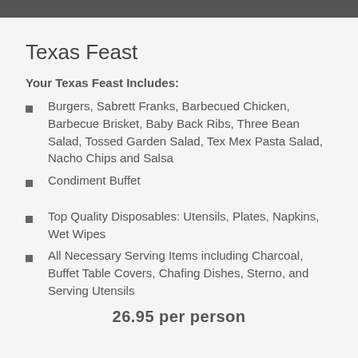Texas Feast
Your Texas Feast Includes:
Burgers, Sabrett Franks, Barbecued Chicken, Barbecue Brisket, Baby Back Ribs, Three Bean Salad, Tossed Garden Salad, Tex Mex Pasta Salad, Nacho Chips and Salsa
Condiment Buffet
Top Quality Disposables: Utensils, Plates, Napkins, Wet Wipes
All Necessary Serving Items including Charcoal, Buffet Table Covers, Chafing Dishes, Sterno, and Serving Utensils
26.95 per person